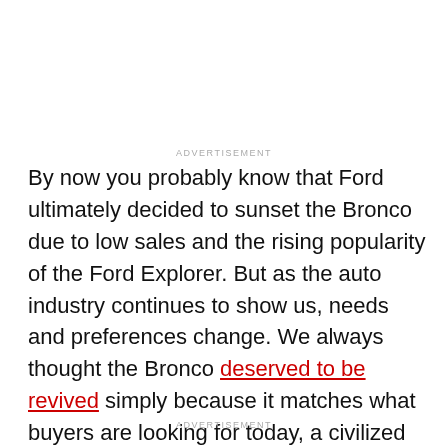ADVERTISEMENT
By now you probably know that Ford ultimately decided to sunset the Bronco due to low sales and the rising popularity of the Ford Explorer. But as the auto industry continues to show us, needs and preferences change. We always thought the Bronco deserved to be revived simply because it matches what buyers are looking for today, a civilized workhorse.
ADVERTISEMENT